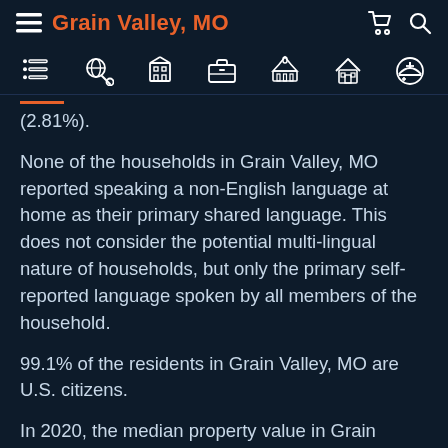Grain Valley, MO
(2.81%).
None of the households in Grain Valley, MO reported speaking a non-English language at home as their primary shared language. This does not consider the potential multi-lingual nature of households, but only the primary self-reported language spoken by all members of the household.
99.1% of the residents in Grain Valley, MO are U.S. citizens.
In 2020, the median property value in Grain Valley, MO was $186,100, and the homeownership rate was 67.5%. Most people in Grain Valley, MO drove alone to work, and the average commute time was 28.4